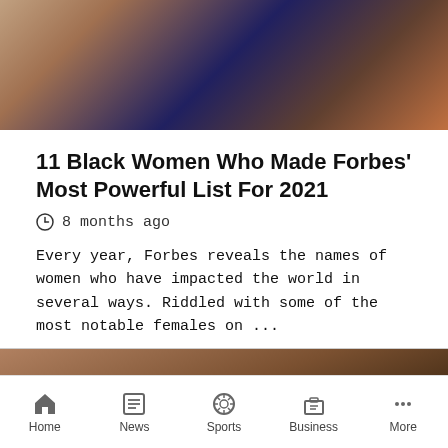[Figure (photo): Photo of women at an awards event, partially cropped]
11 Black Women Who Made Forbes' Most Powerful List For 2021
8 months ago
Every year, Forbes reveals the names of women who have impacted the world in several ways. Riddled with some of the most notable females on ...
[Figure (photo): Photo of a person, partially visible, with an advertisement overlay for Camp Lejeune Justice - Drinking Water Claim Eval]
Home | News | Sports | Business | More